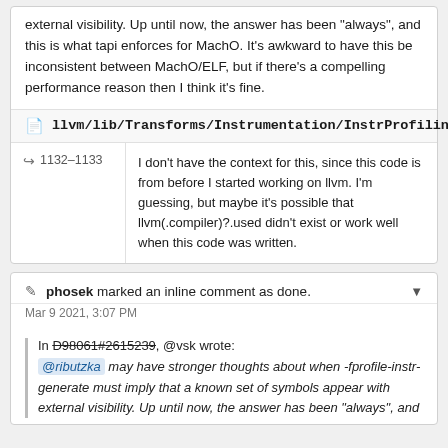external visibility. Up until now, the answer has been "always", and this is what tapi enforces for MachO. It's awkward to have this be inconsistent between MachO/ELF, but if there's a compelling performance reason then I think it's fine.
llvm/lib/Transforms/Instrumentation/InstrProfiling.cpp
1132–1133  I don't have the context for this, since this code is from before I started working on llvm. I'm guessing, but maybe it's possible that llvm(.compiler)?.used didn't exist or work well when this code was written.
phosek marked an inline comment as done.
Mar 9 2021, 3:07 PM
In D98061#2615239, @vsk wrote:
@ributzka may have stronger thoughts about when -fprofile-instr-generate must imply that a known set of symbols appear with external visibility. Up until now, the answer has been "always", and